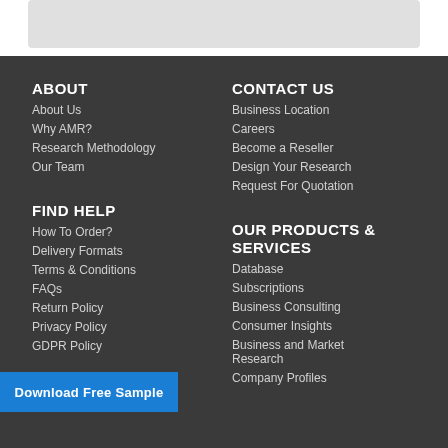ABOUT
About Us
Why AMR?
Research Methodology
Our Team
CONTACT US
Business Location
Careers
Become a Reseller
Design Your Research
Request For Quotation
FIND HELP
How To Order?
Delivery Formats
Terms & Conditions
FAQs
Return Policy
Privacy Policy
GDPR Policy
OUR PRODUCTS & SERVICES
Database
Subscriptions
Business Consulting
Consumer Insights
Business and Market Research
Company Profiles
Download Free Sample